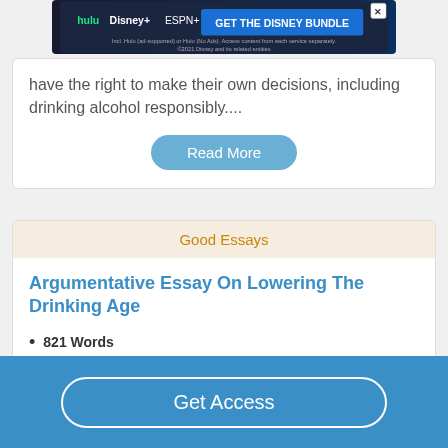[Figure (screenshot): Disney Bundle advertisement banner with Hulu, Disney+, ESPN+ logos and 'GET THE DISNEY BUNDLE' call-to-action button]
have the right to make their own decisions, including drinking alcohol responsibly....
Read More
Good Essays
Argumentative Essay On Lowering The Drinking Age
821 Words
4 Pages
Get Access